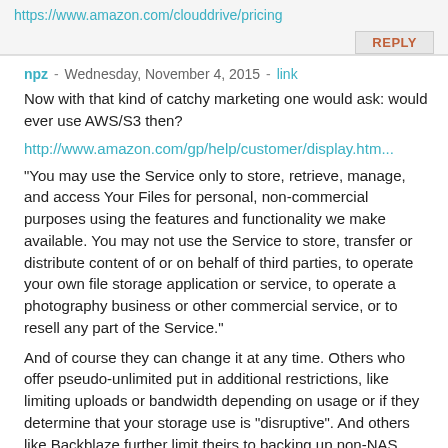https://www.amazon.com/clouddrive/pricing
REPLY
npz - Wednesday, November 4, 2015 - link
Now with that kind of catchy marketing one would ask: would ever use AWS/S3 then?
http://www.amazon.com/gp/help/customer/display.htm...
"You may use the Service only to store, retrieve, manage, and access Your Files for personal, non-commercial purposes using the features and functionality we make available. You may not use the Service to store, transfer or distribute content of or on behalf of third parties, to operate your own file storage application or service, to operate a photography business or other commercial service, or to resell any part of the Service."
And of course they can change it at any time. Others who offer pseudo-unlimited put in additional restrictions, like limiting uploads or bandwidth depending on usage or if they determine that your storage use is "disruptive". And others like Backblaze further limit theirs to backing up non-NAS, non-RAID, direct connected drives (e.g. your system and USB drives) only and their downloads on this tier can